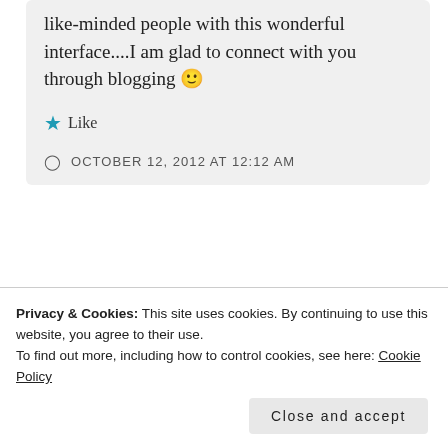like-minded people with this wonderful interface....I am glad to connect with you through blogging 🙂
★ Like
OCTOBER 12, 2012 AT 12:12 AM
[Figure (illustration): Partial view of a circular avatar with red border and light blue background representing a user profile picture]
Privacy & Cookies: This site uses cookies. By continuing to use this website, you agree to their use.
To find out more, including how to control cookies, see here: Cookie Policy
Close and accept